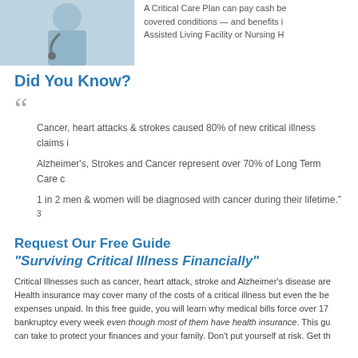[Figure (photo): Medical professional holding a stethoscope]
A Critical Care Plan can pay cash benefits when you are diagnosed with covered conditions — and benefits include care received in an Assisted Living Facility or Nursing Home.
Did You Know?
Cancer, heart attacks & strokes caused 80% of new critical illness claims in
Alzheimer's, Strokes and Cancer represent over 70% of Long Term Care c
1 in 2 men & women will be diagnosed with cancer during their lifetime." 3
Request Our Free Guide "Surviving Critical Illness Financially"
Critical Illnesses such as cancer, heart attack, stroke and Alzheimer's disease are becoming more common. Health insurance may cover many of the costs of a critical illness but even the best plans leave many expenses unpaid. In this free guide, you will learn why medical bills force over 17 families into bankruptcy every week even though most of them have health insurance. This guide also outlines steps you can take to protect your finances and your family. Don't put yourself at risk. Get th